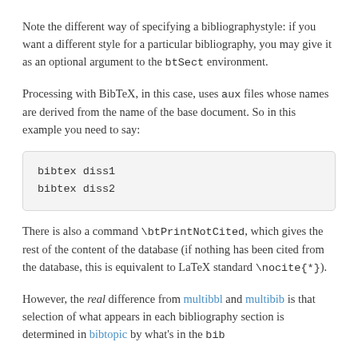Note the different way of specifying a bibliographystyle: if you want a different style for a particular bibliography, you may give it as an optional argument to the btSect environment.
Processing with BibTeX, in this case, uses aux files whose names are derived from the name of the base document. So in this example you need to say:
bibtex diss1
bibtex diss2
There is also a command \btPrintNotCited, which gives the rest of the content of the database (if nothing has been cited from the database, this is equivalent to LaTeX standard \nocite{*}).
However, the real difference from multibbl and multibib is that selection of what appears in each bibliography section is determined in bibtopic by what's in the bib